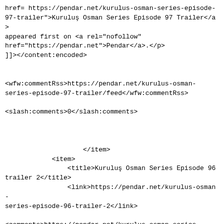href= https://pendar.net/kurulus-osman-series-episode-97-trailer">Kuruluş Osman Series Episode 97 Trailer</a> appeared first on <a rel="nofollow" href="https://pendar.net">Pendar</a>.</p>
]]></content:encoded>


<wfw:commentRss>https://pendar.net/kurulus-osman-series-episode-97-trailer/feed</wfw:commentRss>

<slash:comments>0</slash:comments>



                    </item>
            <item>
                <title>Kuruluş Osman Series Episode 96 trailer 2</title>
                <link>https://pendar.net/kurulus-osman-series-episode-96-trailer-2</link>

<comments>https://pendar.net/kurulus-osman-series-episode-96-trailer-2?noamp=mobile#respond</comments>

                <dc:creator><![CDATA[Elyar]]>
</dc:creator>
                <pubDate>Wed, 01 Jun 2022 19:28:23 +0000</pubDate>
                <category><!
[CDATA[Recap]]></category>
                <category><![CDATA[Turkish Drama]]>
</category>